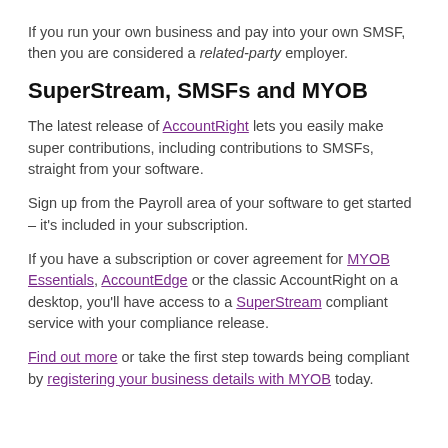If you run your own business and pay into your own SMSF, then you are considered a related-party employer.
SuperStream, SMSFs and MYOB
The latest release of AccountRight lets you easily make super contributions, including contributions to SMSFs, straight from your software.
Sign up from the Payroll area of your software to get started – it's included in your subscription.
If you have a subscription or cover agreement for MYOB Essentials, AccountEdge or the classic AccountRight on a desktop, you'll have access to a SuperStream compliant service with your compliance release.
Find out more or take the first step towards being compliant by registering your business details with MYOB today.